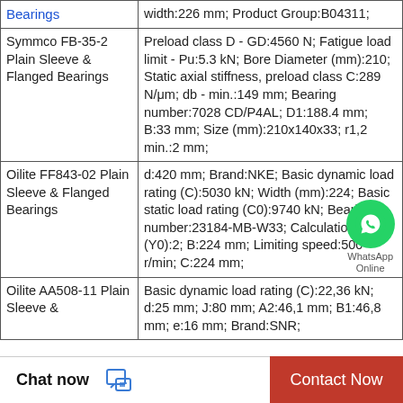| Product | Specifications |
| --- | --- |
| Bearings | width:226 mm; Product Group:B04311; |
| Symmco FB-35-2 Plain Sleeve & Flanged Bearings | Preload class D - GD:4560 N; Fatigue load limit - Pu:5.3 kN; Bore Diameter (mm):210; Static axial stiffness, preload class C:289 N/μm; db - min.:149 mm; Bearing number:7028 CD/P4AL; D1:188.4 mm; B:33 mm; Size (mm):210x140x33; r1,2 min.:2 mm; |
| Oilite FF843-02 Plain Sleeve & Flanged Bearings | d:420 mm; Brand:NKE; Basic dynamic load rating (C):5030 kN; Width (mm):224; Basic static load rating (C0):9740 kN; Bearing number:23184-MB-W33; Calculation factor (Y0):2; B:224 mm; Limiting speed:500 r/min; C:224 mm; |
| Oilite AA508-11 Plain Sleeve & | Basic dynamic load rating (C):22,36 kN; d:25 mm; J:80 mm; A2:46,1 mm; B1:46,8 mm; e:16 mm; Brand:SNR; |
[Figure (illustration): WhatsApp Online chat button overlay in the middle-right of the page]
Chat now
Contact Now